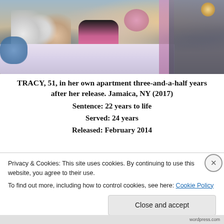[Figure (photo): A woman in pink pants and dark top sitting cross-legged on a bed with a floral comforter, surrounded by stuffed animals. A dresser with a lamp is visible on the right, and pink curtains are in the background. The room appears to be a personal apartment bedroom.]
TRACY, 51, in her own apartment three-and-a-half years after her release. Jamaica, NY (2017)
Sentence: 22 years to life
Served: 24 years
Released: February 2014
Privacy & Cookies: This site uses cookies. By continuing to use this website, you agree to their use.
To find out more, including how to control cookies, see here: Cookie Policy
Close and accept